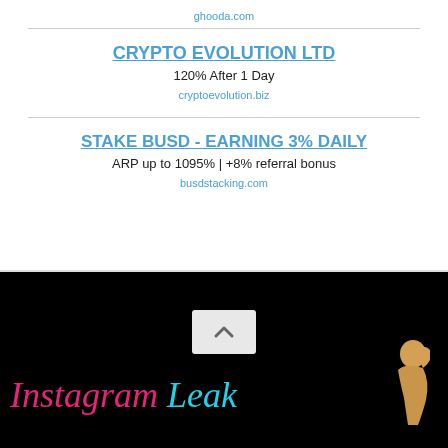ghooda.com
CRYPTO EVOLUTION LTD
120% After 1 Day
cryptoevolution.biz
STAKE BUSD - EARNING 3% DAILY
ARP up to 1095% | +8% referral bonus
busdstacking.com
[Figure (screenshot): Bottom section showing a hamburger menu icon, a scroll-up arrow button, and the Instagram Leaks logo with pink and cyan text on black background with a female silhouette illustration.]